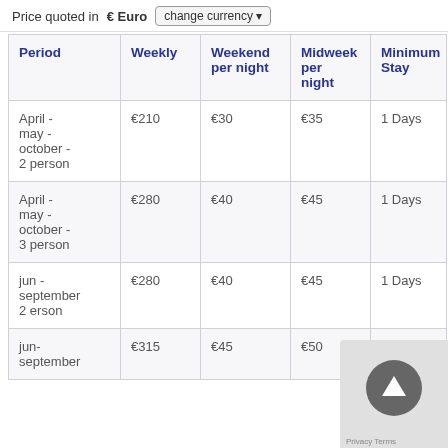Price quoted in € Euro  change currency
| Period | Weekly | Weekend per night | Midweek per night | Minimum Stay |
| --- | --- | --- | --- | --- |
| April - may - october - 2 person | €210 | €30 | €35 | 1 Days |
| April - may - october - 3 person | €280 | €40 | €45 | 1 Days |
| jun - september 2 erson | €280 | €40 | €45 | 1 Days |
| jun- september | €315 | €45 | €50 | 1 Days |